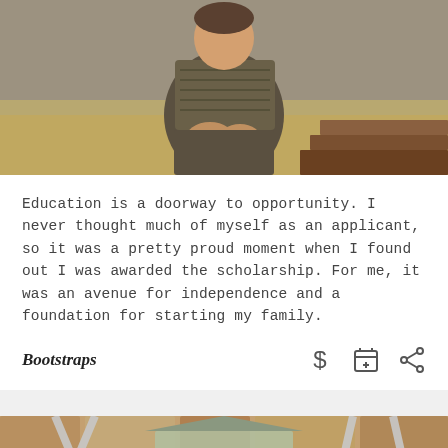[Figure (photo): Person sitting on outdoor steps, wearing a patterned long-sleeve shirt, dry grass in background]
Education is a doorway to opportunity. I never thought much of myself as an applicant, so it was a pretty proud moment when I found out I was awarded the scholarship. For me, it was an avenue for independence and a foundation for starting my family.
Bootstraps
[Figure (photo): Person standing outdoors in front of a stone wall with a decorative building model/sign, partially visible from top of head]